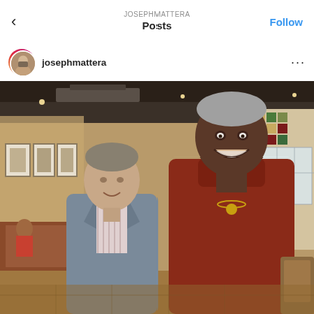JOSEPHMATTERA / Posts / Follow
josephmattera
[Figure (photo): Two men posing together smiling in a restaurant setting. Left man wears a grey blazer with a patterned shirt; right man is taller and wears a brick-red turtleneck with a gold necklace. Background shows restaurant booths, wall art with colorful geometric patterns, and recessed lighting.]